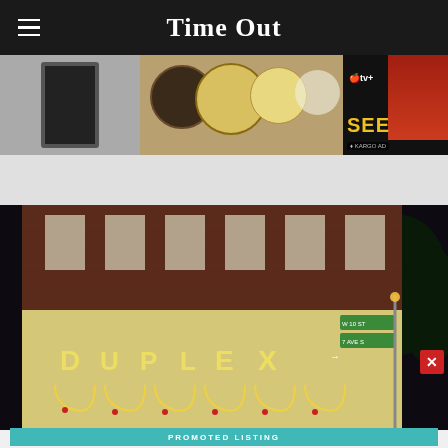Time Out
[Figure (photo): Photo strip showing food dishes including pizza and a tablet device, with Apple TV+ SEE advertisement on the right]
[Figure (photo): Night exterior photo of the Duplex venue building with illuminated DUPLEX lettering and arched windows outlined in lights]
[Figure (other): Promoted listing advertisement banner: The best date ideas in the U.S. with Read More button]